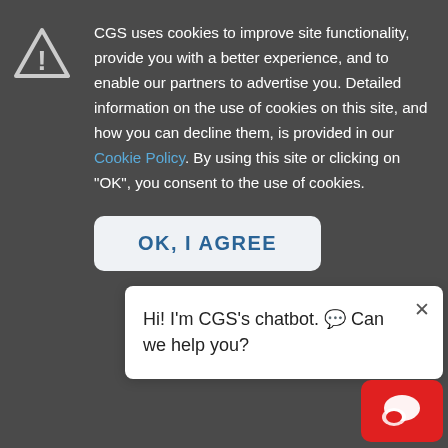CGS uses cookies to improve site functionality, provide you with a better experience, and to enable our partners to advertise you. Detailed information on the use of cookies on this site, and how you can decline them, is provided in our Cookie Policy. By using this site or clicking on "OK", you consent to the use of cookies.
OK, I AGREE
those two countries alone are 44 percent of the U.S. market. If you take 1 percent of those
Hi! I'm CGS's chatbot. 💬 Can we help you?
number, it will mean a flood of activity for CAFTA countries, and